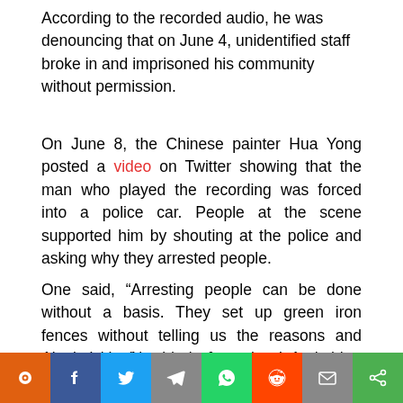According to the recorded audio, he was denouncing that on June 4, unidentified staff broke in and imprisoned his community without permission.
On June 8, the Chinese painter Hua Yong posted a video on Twitter showing that the man who played the recording was forced into a police car. People at the scene supported him by shouting at the police and asking why they arrested people.
One said, “Arresting people can be done without a basis. They set up green iron fences without telling us the reasons and regulations. Not a single reason! And then, now the people are taken away.”
Along with the video, the painter wrote that Shanghai was still in a state of closure. Seeing young people in Sha... him
[Figure (infographic): Social media share bar at the bottom with icons for an orange beacon app, Facebook (blue), Twitter (blue bird), Telegram (gray), WhatsApp (green), Reddit (orange), Email (gray), and Share (green).]